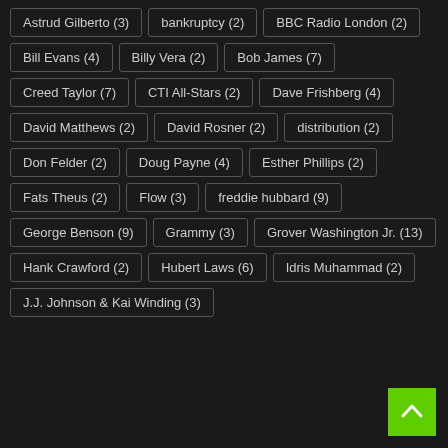Astrud Gilberto (3)
bankruptcy (2)
BBC Radio London (2)
Bill Evans (4)
Billy Vera (2)
Bob James (7)
Creed Taylor (7)
CTI All-Stars (2)
Dave Frishberg (4)
David Matthews (2)
David Rosner (2)
distribution (2)
Don Felder (2)
Doug Payne (4)
Esther Phillips (2)
Fats Theus (2)
Flow (3)
freddie hubbard (9)
George Benson (9)
Grammy (3)
Grover Washington Jr. (13)
Hank Crawford (2)
Hubert Laws (6)
Idris Muhammad (2)
J.J. Johnson & Kai Winding (3)